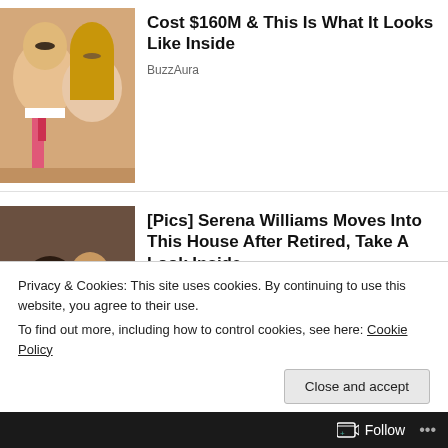[Figure (photo): Thumbnail photo of a couple — a man in a pink tie and a woman with long blonde hair]
Cost $160M & This Is What It Looks Like Inside
BuzzAura
[Figure (photo): Thumbnail photo of a woman, a man, and a baby — family portrait]
[Pics] Serena Williams Moves Into This House After Retired, Take A Look Inside
BuzzFond
[Figure (photo): Wide banner photo of a house exterior with tan siding, trees, and overcast sky]
Privacy & Cookies: This site uses cookies. By continuing to use this website, you agree to their use.
To find out more, including how to control cookies, see here: Cookie Policy
Close and accept
Follow